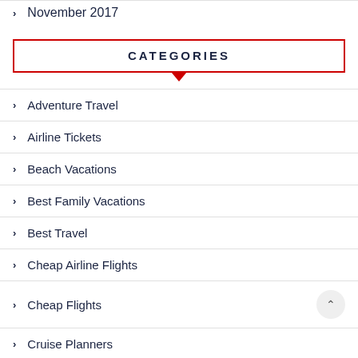November 2017
CATEGORIES
Adventure Travel
Airline Tickets
Beach Vacations
Best Family Vacations
Best Travel
Cheap Airline Flights
Cheap Flights
Cruise Planners